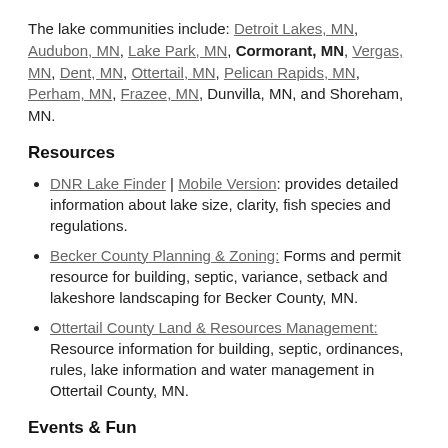The lake communities include: Detroit Lakes, MN, Audubon, MN, Lake Park, MN, Cormorant, MN, Vergas, MN, Dent, MN, Ottertail, MN, Pelican Rapids, MN, Perham, MN, Frazee, MN, Dunvilla, MN, and Shoreham, MN.
Resources
DNR Lake Finder | Mobile Version: provides detailed information about lake size, clarity, fish species and regulations.
Becker County Planning & Zoning: Forms and permit resource for building, septic, variance, setback and lakeshore landscaping for Becker County, MN.
Ottertail County Land & Resources Management: Resource information for building, septic, ordinances, rules, lake information and water management in Ottertail County, MN.
Events & Fun
Street Faire at the Lakes
WE Fest
Water Carnival